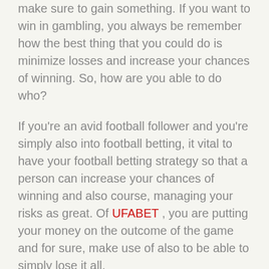make sure to gain something. If you want to win in gambling, you always be remember how the best thing that you could do is minimize losses and increase your chances of winning. So, how are you able to do who?
If you're an avid football follower and you're simply also into football betting, it vital to have your football betting strategy so that a person can increase your chances of winning and also course, managing your risks as great. Of UFABET , you are putting your money on the outcome of the game and for sure, make use of also to be able to simply lose it all.
Technology is evolving everyday and it's really time you keep up with this you will. Using your mobile phone or PDA to the fullest, to one's